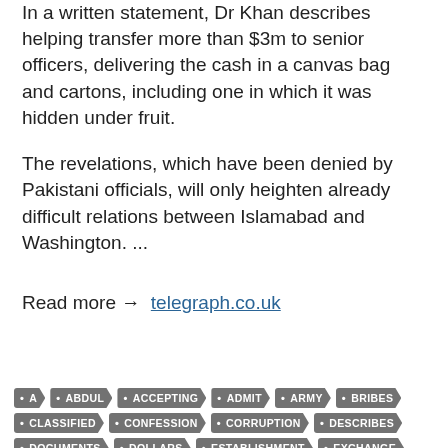In a written statement, Dr Khan describes helping transfer more than $3m to senior officers, delivering the cash in a canvas bag and cartons, including one in which it was hidden under fruit.
The revelations, which have been denied by Pakistani officials, will only heighten already difficult relations between Islamabad and Washington. ...
Read more → telegraph.co.uk
A
ABDUL
ACCEPTING
ADMIT
ARMY
BRIBES
CLASSIFIED
CONFESSION
CORRUPTION
DESCRIBES
DOCUMENTS
DOLLARS
ESTABLISHMENT
EXCHANGE
EXTREMISM
FUNDAMENTALISM
GHQ
GOVERNMENT
HIGH
INFORMATION
IRAN
ISI
ISLAMABAD
KHAN
KOREA
LEVEL
LIBYA
MILITARY
MILLIONS
NETWORK
NORTH
NUCLEAR
OPERATOR
PAKISTAN
Q
QADEER